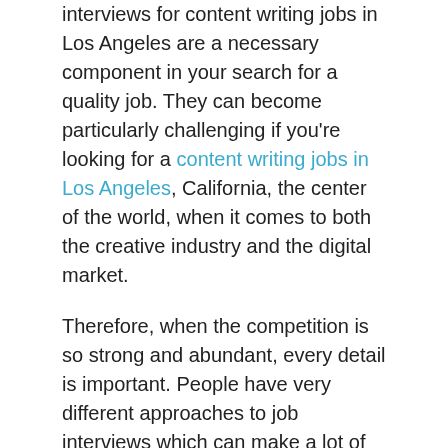interviews for content writing jobs in Los Angeles are a necessary component in your search for a quality job. They can become particularly challenging if you're looking for a content writing jobs in Los Angeles, California, the center of the world, when it comes to both the creative industry and the digital market.
Therefore, when the competition is so strong and abundant, every detail is important. People have very different approaches to job interviews which can make a lot of difference. For some, interviews offer an excellent opportunity to present their talents, connect to their interviewer personally, and charm their way into the next stage. For others, they are a source of great stress and discomfort.
Such a difference stems from the simple fact that for some people, social contact and communication are a pleasure, while for others, they are a nightmare. However, being a social person doesn't guarantee success, just like being an introvert who doesn't like direct conversations doesn't imply failure.
So, if the questions are already so complicated, how are we going to answer them? Simple. Job interviews for content writing are